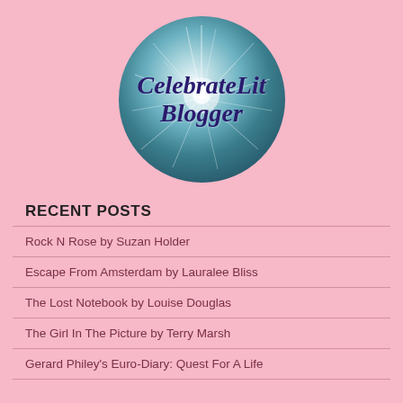[Figure (logo): CelebrateLit Blogger circular logo — teal/blue dandelion seed background with dark purple italic script text reading 'CelebrateLit Blogger']
RECENT POSTS
Rock N Rose by Suzan Holder
Escape From Amsterdam by Lauralee Bliss
The Lost Notebook by Louise Douglas
The Girl In The Picture by Terry Marsh
Gerard Philey's Euro-Diary: Quest For A Life